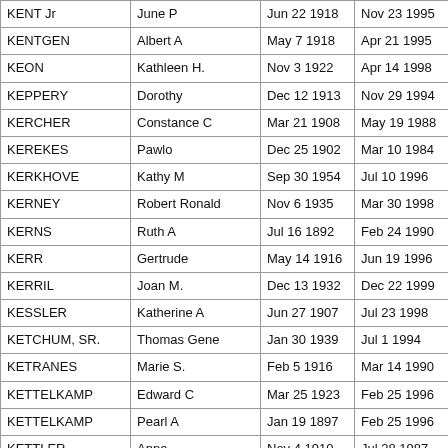| Last Name | First Name | Birth Date | Death Date |
| --- | --- | --- | --- |
| KENT Jr | June P | Jun 22 1918 | Nov 23 1995 |
| KENTGEN | Albert A | May 7 1918 | Apr 21 1995 |
| KEON | Kathleen H. | Nov 3 1922 | Apr 14 1998 |
| KEPPERY | Dorothy | Dec 12 1913 | Nov 29 1994 |
| KERCHER | Constance C | Mar 21 1908 | May 19 1988 |
| KEREKES | Pawlo | Dec 25 1902 | Mar 10 1984 |
| KERKHOVE | Kathy M | Sep 30 1954 | Jul 10 1996 |
| KERNEY | Robert Ronald | Nov 6 1935 | Mar 30 1998 |
| KERNS | Ruth A | Jul 16 1892 | Feb 24 1990 |
| KERR | Gertrude | May 14 1916 | Jun 19 1996 |
| KERRIL | Joan M. | Dec 13 1932 | Dec 22 1999 |
| KESSLER | Katherine A | Jun 27 1907 | Jul 23 1998 |
| KETCHUM, SR. | Thomas Gene | Jan 30 1939 | Jul 1 1994 |
| KETRANES | Marie S. | Feb 5 1916 | Mar 14 1990 |
| KETTELKAMP | Edward C | Mar 25 1923 | Feb 25 1996 |
| KETTELKAMP | Pearl A | Jan 19 1897 | Feb 25 1996 |
| KETTLER | Anna | Nov 4 1910 | Jul 28 1987 |
| KETTLER | June V | Aug 19 1919 | Dec 19 1996 |
| KETTLER |  | Jan 10 1900 | Oct 10 1900 |